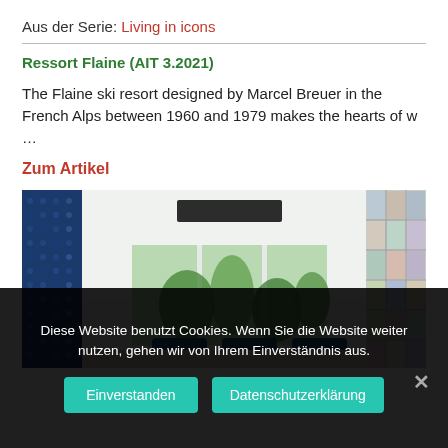Aus der Serie: Living in icons
Ressort Flaine (AIT 3.2021)
The Flaine ski resort designed by Marcel Breuer in the French Alps between 1960 and 1979 makes the hearts of w …
Zum Artikel
[Figure (photo): Interior room photo showing a modern space with large windows, blue chairs, tropical plants, a dark ceiling unit (air conditioning or heating), textured blue panel on the left, and a framed art grid panel on the right.]
Diese Website benutzt Cookies. Wenn Sie die Website weiter nutzen, gehen wir von Ihrem Einverständnis aus.
Einverstanden
Datenschutzerklärung